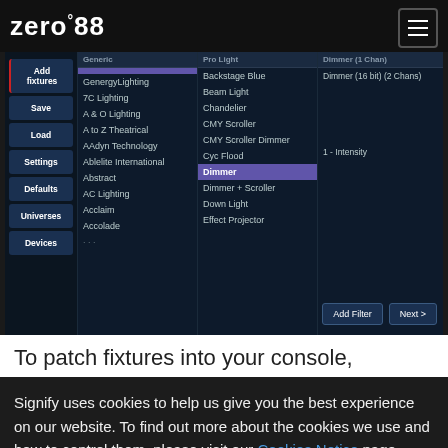[Figure (screenshot): Zero 88 lighting console software interface showing fixture patching screen. Left sidebar has buttons: Add fixtures, Save, Load, Settings, Defaults, Universes, Devices. Main area shows three columns: Generic manufacturers list (GenergyLighting, 7C Lighting, A & O Lighting, A to Z Theatrical, AAdyn Technology, Ablelite International, Abstract, AC Lighting, Acclaim, Accolade), Pro Light fixtures list (Backstage Blue, Beam Light, Chandelier, CMY Scroller, CMY Scroller Dimmer, Cyc Flood, Dimmer [highlighted], Dimmer + Scroller, Down Light, Effect Projector), and Dimmer (1 Chan) column (Dimmer (16 bit) (2 Chans), 1 - Intensity). Bottom right has Add Filter and Next > buttons.]
To patch fixtures into your console,
Signify uses cookies to help us give you the best experience on our website. To find out more about the cookies we use and how to control them, please visit our Cookies Notice page.
ACCEPT COOKIES